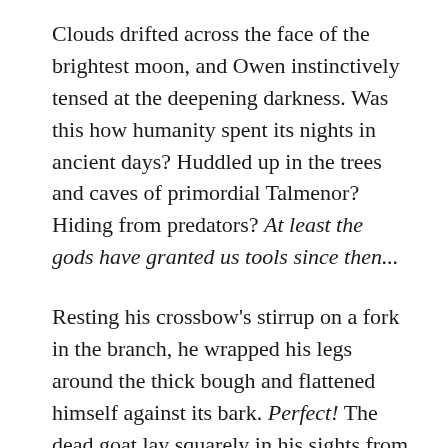Clouds drifted across the face of the brightest moon, and Owen instinctively tensed at the deepening darkness. Was this how humanity spent its nights in ancient days? Huddled up in the trees and caves of primordial Talmenor? Hiding from predators? At least the gods have granted us tools since then...
Resting his crossbow's stirrup on a fork in the branch, he wrapped his legs around the thick bough and flattened himself against its bark. Perfect! The dead goat lay squarely in his sights from this vantage point. If the Beast of Saltern returned craving leftover chevon, he'd have a clear shot at the unsuspecting man-eater. And